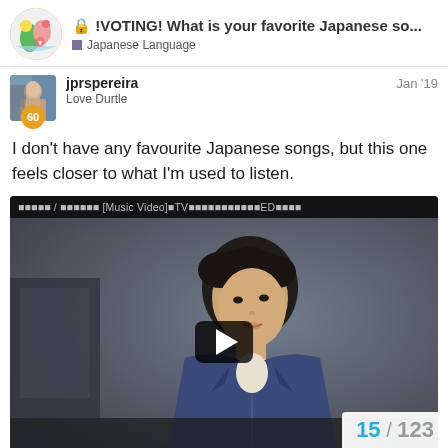🔒 !VOTING! What is your favorite Japanese so... — Japanese Language
jprspereira
Love Durtle
Jan '19
I don't have any favourite Japanese songs, but this one feels closer to what I'm used to listen.
[Figure (screenshot): Embedded YouTube music video thumbnail showing a young man in a blue suit, with video title bar showing Japanese characters and '[Music Video]' text, and a play button overlay]
15 / 123